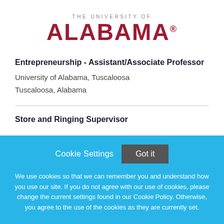[Figure (logo): The University of Alabama logo with 'THE UNIVERSITY OF' in gray lettering above 'ALABAMA' in large crimson/red text with a registered trademark symbol]
Entrepreneurship - Assistant/Associate Professor
University of Alabama, Tuscaloosa
Tuscaloosa, Alabama
Store and Ringing Supervisor
Cookie Settings  Got it

We use cookies so that we can remember you and understand how you use our site. If you do not agree with our use of cookies, please change the current settings found in our Cookie Policy. Otherwise, you agree to the use of the cookies as they are currently set.